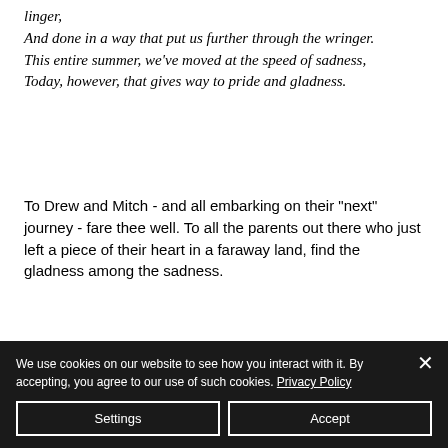linger,
And done in a way that put us further through the wringer.
This entire summer, we've moved at the speed of sadness,
Today, however, that gives way to pride and gladness.
To Drew and Mitch - and all embarking on their "next" journey - fare thee well. To all the parents out there who just left a piece of their heart in a faraway land, find the gladness among the sadness.
[Figure (other): Social sharing icons: Facebook, Twitter, LinkedIn, Link/copy]
We use cookies on our website to see how you interact with it. By accepting, you agree to our use of such cookies. Privacy Policy
Settings
Accept